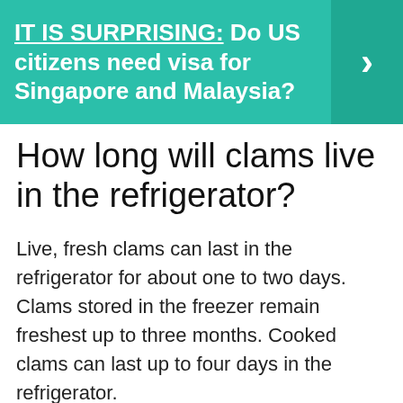[Figure (infographic): Teal/green banner with bold white text reading 'IT IS SURPRISING: Do US citizens need visa for Singapore and Malaysia?' with a right-pointing arrow chevron on the right side in a darker teal box.]
How long will clams live in the refrigerator?
Live, fresh clams can last in the refrigerator for about one to two days. Clams stored in the freezer remain freshest up to three months. Cooked clams can last up to four days in the refrigerator.
How long can clams live out of water?
In proper storage conditions, oysters can survive 2 to 3 weeks outside of the water